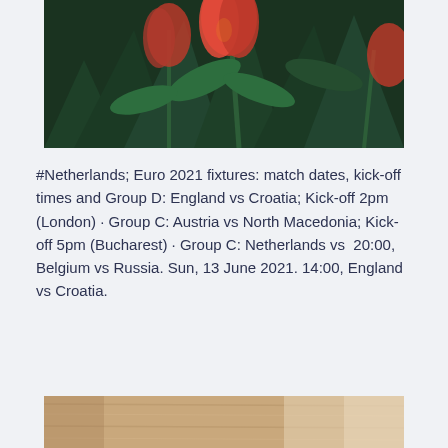[Figure (photo): Close-up photo of red/orange tulips with dark green leaves against a dark background]
#Netherlands; Euro 2021 fixtures: match dates, kick-off times and Group D: England vs Croatia; Kick-off 2pm (London) · Group C: Austria vs North Macedonia; Kick-off 5pm (Bucharest) · Group C: Netherlands vs  20:00, Belgium vs Russia. Sun, 13 June 2021. 14:00, England vs Croatia.
[Figure (photo): Partial photo showing a light brown wooden surface, cropped at bottom of page]